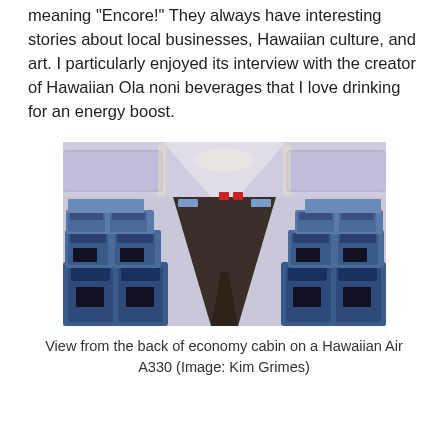meaning "Encore!" They always have interesting stories about local businesses, Hawaiian culture, and art. I particularly enjoyed its interview with the creator of Hawaiian Ola noni beverages that I love drinking for an energy boost.
[Figure (photo): View from the back of economy cabin on a Hawaiian Air A330, showing rows of blue seats stretching toward the front of the aircraft with overhead bins and lighting visible.]
View from the back of economy cabin on a Hawaiian Air A330 (Image: Kim Grimes)